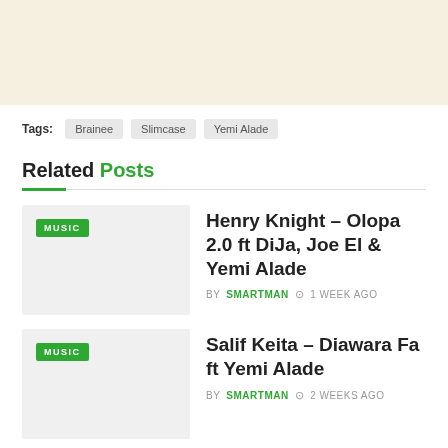[Figure (other): Top banner area with light beige/cream background, likely an advertisement placeholder]
Tags: Brainee  Slimcase  Yemi Alade
Related Posts
[Figure (photo): Thumbnail image placeholder for Henry Knight – Olopa 2.0 ft DiJa, Joe El & Yemi Alade with MUSIC badge]
Henry Knight – Olopa 2.0 ft DiJa, Joe El & Yemi Alade
BY SMARTMAN  1 WEEK AGO
[Figure (photo): Thumbnail image placeholder for Salif Keita – Diawara Fa ft Yemi Alade with MUSIC badge]
Salif Keita – Diawara Fa ft Yemi Alade
BY SMARTMAN  2 WEEKS AGO